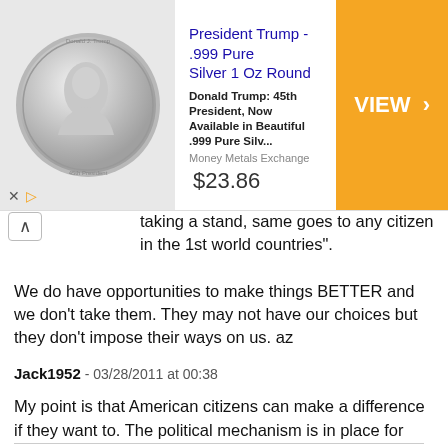[Figure (other): Advertisement banner for President Trump .999 Pure Silver 1 Oz Round coin. Shows a silver coin image on the left, product title and description text in the middle, price $23.86, and an orange 'VIEW >' button on the right. Money Metals Exchange is listed as the source.]
taking a stand, same goes to any citizen in the 1st world countries". We do have opportunities to make things BETTER and we don't take them. They may not have our choices but they don't impose their ways on us. az
Jack1952 - 03/28/2011 at 00:38

My point is that American citizens can make a difference if they want to. The political mechanism is in place for them to do this peacefully. If it doesn't happen, then like you say, it is the fault of the citizens. In North Korea there is no allowance for dissent, at